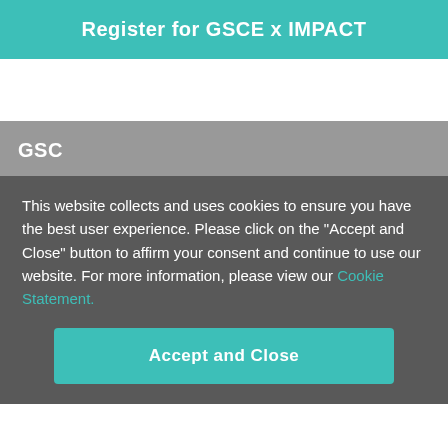Register for GSCE x IMPACT
GSC
This website collects and uses cookies to ensure you have the best user experience. Please click on the "Accept and Close" button to affirm your consent and continue to use our website. For more information, please view our Cookie Statement.
Accept and Close